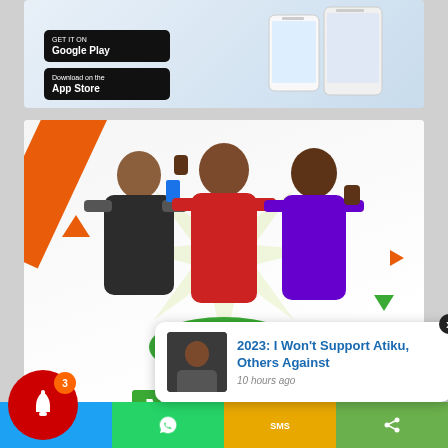[Figure (screenshot): Top app download banner showing Google Play and App Store buttons with phone mockup]
[Figure (illustration): Access Bank Xtra Wins advertisement. Three excited people. Text: 'Join the league of Millionaires. A transaction* a day qualifies you to win ₦1 million by month end.' Learn More button and Access bank logo.]
2023: I Won't Support Atiku, Others Against
10 hours ago